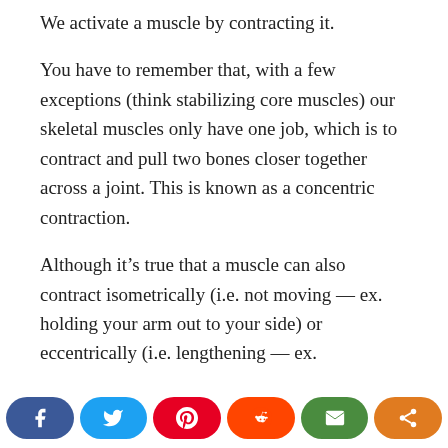We activate a muscle by contracting it.
You have to remember that, with a few exceptions (think stabilizing core muscles) our skeletal muscles only have one job, which is to contract and pull two bones closer together across a joint. This is known as a concentric contraction.
Although it’s true that a muscle can also contract isometrically (i.e. not moving — ex. holding your arm out to your side) or eccentrically (i.e. lengthening — ex.
[Figure (infographic): Social sharing bar with Facebook, Twitter, Pinterest, Reddit, Email, and Share buttons]